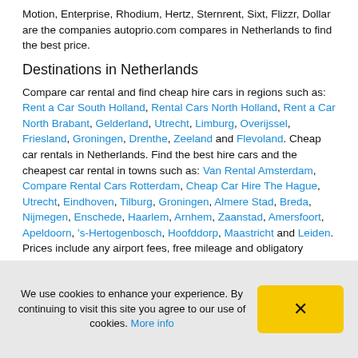Motion, Enterprise, Rhodium, Hertz, Sternrent, Sixt, Flizzr, Dollar are the companies autoprio.com compares in Netherlands to find the best price.
Destinations in Netherlands
Compare car rental and find cheap hire cars in regions such as: Rent a Car South Holland, Rental Cars North Holland, Rent a Car North Brabant, Gelderland, Utrecht, Limburg, Overijssel, Friesland, Groningen, Drenthe, Zeeland and Flevoland. Cheap car rentals in Netherlands. Find the best hire cars and the cheapest car rental in towns such as: Van Rental Amsterdam, Compare Rental Cars Rotterdam, Cheap Car Hire The Hague, Utrecht, Eindhoven, Tilburg, Groningen, Almere Stad, Breda, Nijmegen, Enschede, Haarlem, Arnhem, Zaanstad, Amersfoort, Apeldoorn, 's-Hertogenbosch, Hoofddorp, Maastricht and Leiden. Prices include any airport fees, free mileage and obligatory insurances, taxes and fees etc in Netherlands. Compare car hire and van rental in airports
We use cookies to enhance your experience. By continuing to visit this site you agree to our use of cookies. More info